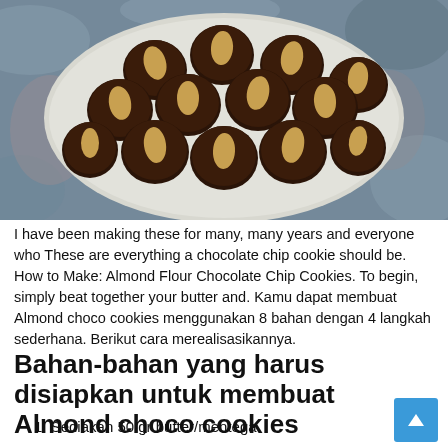[Figure (photo): Plate of dark chocolate cookies each topped with a whole almond, arranged on a light grey oval plate against a mottled blue-grey stone background]
I have been making these for many, many years and everyone who These are everything a chocolate chip cookie should be. How to Make: Almond Flour Chocolate Chip Cookies. To begin, simply beat together your butter and. Kamu dapat membuat Almond choco cookies menggunakan 8 bahan dengan 4 langkah sederhana. Berikut cara merealisasikannya.
Bahan-bahan yang harus disiapkan untuk membuat Almond choco cookies
1. Sediakan 50 gr butter/mentega.